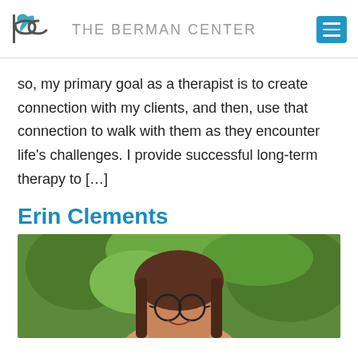THE BERMAN CENTER
so, my primary goal as a therapist is to create connection with my clients, and then, use that connection to walk with them as they encounter life's challenges. I provide successful long-term therapy to [...]
Erin Clements
[Figure (photo): Headshot photo of Erin Clements, a woman with long brown hair and glasses, smiling, with green foliage in the background]